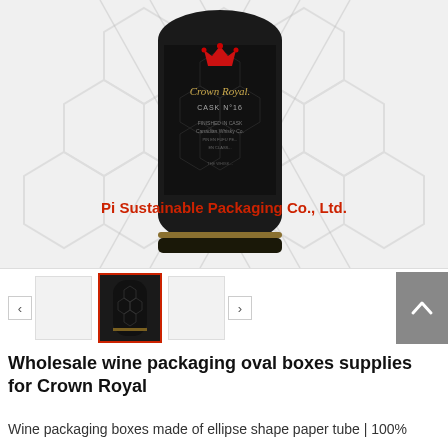[Figure (photo): Product photo of a black oval cylindrical wine packaging box for Crown Royal whisky, with hexagonal pattern background and watermark text 'Pi Sustainable Packaging Co., Ltd.' overlaid in red. Thumbnail navigation bar below the main image with left/right arrows and one selected thumbnail showing the dark package.]
Wholesale wine packaging oval boxes supplies for Crown Royal
Wine packaging boxes made of ellipse shape paper tube | 100%